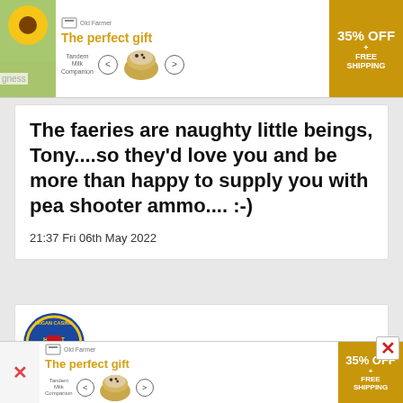[Figure (infographic): Advertisement banner: 'The perfect gift' with food product bowl image and '35% OFF + FREE SHIPPING' orange CTA]
The faeries are naughty little beings, Tony....so they'd love you and be more than happy to supply you with pea shooter ammo.... :-)
21:37 Fri 06th May 2022
[Figure (logo): Wigan Casino Heart of Soul circular logo on blue background]
[Figure (infographic): Bottom advertisement banner: 'The perfect gift' with food product bowl image and '35% OFF + FREE SHIPPING' orange CTA]